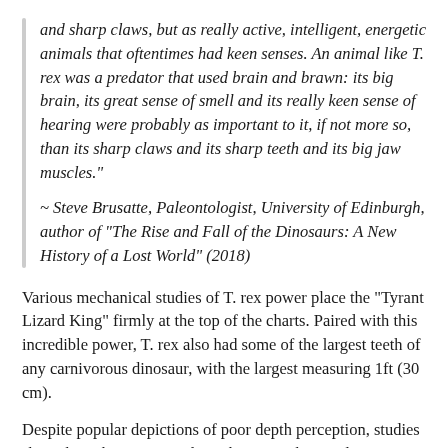and sharp claws, but as really active, intelligent, energetic animals that oftentimes had keen senses. An animal like T. rex was a predator that used brain and brawn: its big brain, its great sense of smell and its really keen sense of hearing were probably as important to it, if not more so, than its sharp claws and its sharp teeth and its big jaw muscles."
~ Steve Brusatte, Paleontologist, University of Edinburgh, author of "The Rise and Fall of the Dinosaurs: A New History of a Lost World" (2018)
Various mechanical studies of T. rex power place the "Tyrant Lizard King" firmly at the top of the charts. Paired with this incredible power, T. rex also had some of the largest teeth of any carnivorous dinosaur, with the largest measuring 1ft (30 cm).
Despite popular depictions of poor depth perception, studies show that when compared to other giant theropods, tyrannosaurids had a wide postorbital skull